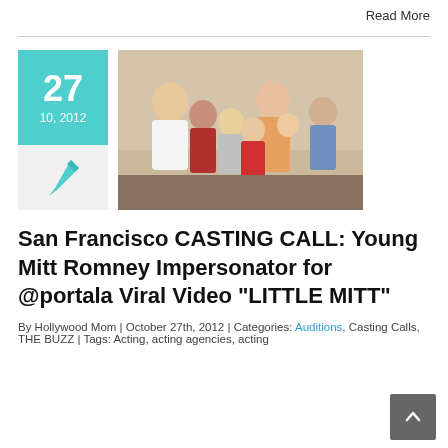Read More
[Figure (photo): Date block showing 27, 10, 2012 in teal, with a pen icon below, and a family photo to the right showing a man, woman, and several children posing together.]
San Francisco CASTING CALL: Young Mitt Romney Impersonator for @portala Viral Video “LITTLE MITT”
By Hollywood Mom | October 27th, 2012 | Categories: Auditions, Casting Calls, THE BUZZ | Tags: Acting, acting agencies, acting